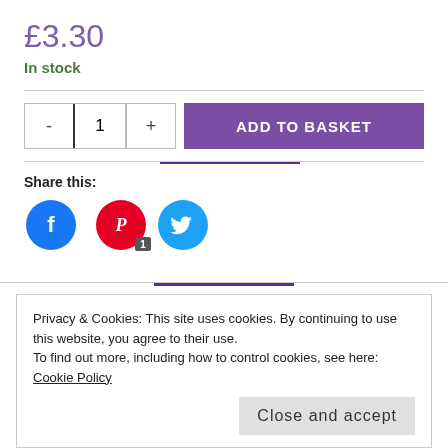£3.30
In stock
1 ADD TO BASKET
Share this:
[Figure (illustration): Three social media share buttons: Facebook (blue circle), Pinterest (red circle with badge showing 1), Twitter (cyan circle)]
Privacy & Cookies: This site uses cookies. By continuing to use this website, you agree to their use.
To find out more, including how to control cookies, see here: Cookie Policy
Close and accept